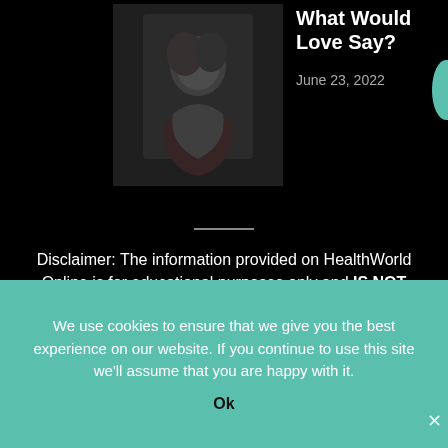[Figure (photo): A couple close together, romantic pose outdoors]
What Would Love Say?
June 23, 2022
Disclaimer: The information provided on HealthWorld Online is for educational purposes only and IS NOT intended as a substitute for professional medical advice, diagnosis, or treatment. Always seek professional medical advice from your physician or other qualified healthcare provider with any questions you may have regarding a medical condition.
We use cookies to ensure that we give you the best experience on our website. If you continue to use this site we'll assume that you are happy with it.
Ok